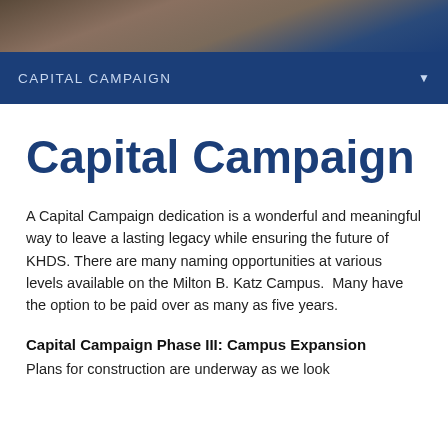[Figure (photo): Partial photo of a building or campus scene visible at the top of the page]
CAPITAL CAMPAIGN
Capital Campaign
A Capital Campaign dedication is a wonderful and meaningful way to leave a lasting legacy while ensuring the future of KHDS. There are many naming opportunities at various levels available on the Milton B. Katz Campus.  Many have the option to be paid over as many as five years.
Capital Campaign Phase III: Campus Expansion
Plans for construction are underway as we look